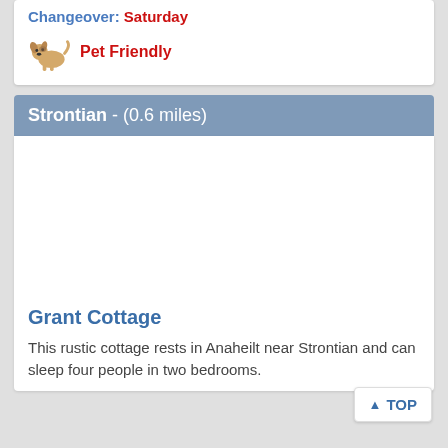Changeover: Saturday
Pet Friendly
Strontian - (0.6 miles)
[Figure (photo): Property image area for Grant Cottage]
Grant Cottage
This rustic cottage rests in Anaheilt near Strontian and can sleep four people in two bedrooms.
TOP